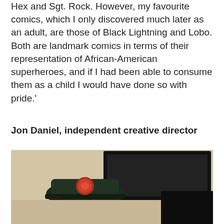Hex and Sgt. Rock. However, my favourite comics, which I only discovered much later as an adult, are those of Black Lightning and Lobo. Both are landmark comics in terms of their representation of African-American superheroes, and if I had been able to consume them as a child I would have done so with pride.'
Jon Daniel, independent creative director
[Figure (photo): A child wearing a dark military-style cap with a badge/patch, smiling at the camera. In the background is a dark framed picture or mirror on a light-colored wall.]